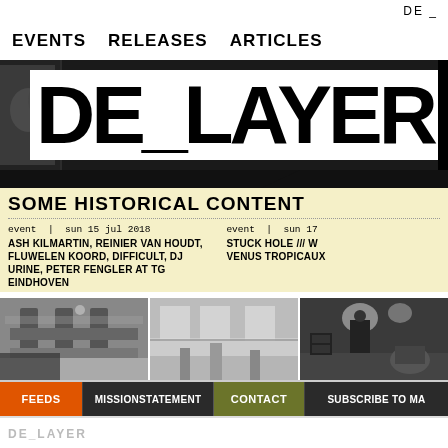DE _
EVENTS   RELEASES   ARTICLES
DE_LAYER
SOME HISTORICAL CONTENT
event | sun 15 jul 2018
ASH KILMARTIN, REINIER VAN HOUDT, FLUWELEN KOORD, DIFFICULT, DJ URINE, PETER FENGLER AT TG EINDHOVEN
event | sun 17
STUCK HOLE /// W
VENUS TROPICAUX
[Figure (photo): Black and white photo of a venue/installation with wooden structure]
[Figure (photo): Black and white photo of industrial/warehouse space]
[Figure (photo): Black and white photo of a performer on stage with lighting]
FEEDS   MISSIONSTATEMENT   CONTACT   SUBSCRIBE TO MA
DE_LAYER